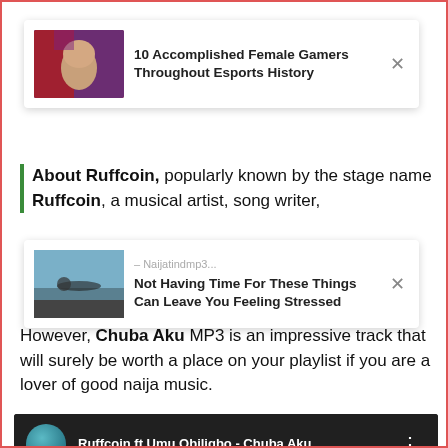[Figure (screenshot): Ad card 1: thumbnail image of a woman gamer, bold text '10 Accomplished Female Gamers Throughout Esports History', X close button]
About Ruffcoin, popularly known by the stage name Ruffcoin, a musical artist, song writer,
[Figure (screenshot): Ad card 2: thumbnail image of person lying on rock by water, source '– Naijatindmp3', bold text 'Not Having Time For These Things Can Leave You Feeling Stressed', X close button]
However, Chuba Aku MP3 is an impressive track that will surely be worth a place on your playlist if you are a lover of good naija music.
Stream & Listen To Audio, Share And Enjoy.
[Figure (screenshot): YouTube embed player showing 'Ruffcoin ft Umu Obiligbo - Chuba Aku' with dark background, CHUBA AKU text, FEATURING UMU OBILIGBO text, YouTube play button, and channel avatar]